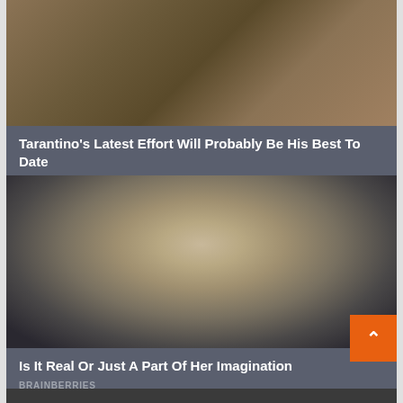[Figure (photo): Top portion of article card with a photo showing a cat or animal near shoes/feet on a carpet background]
Tarantino's Latest Effort Will Probably Be His Best To Date
BRAINBERRIES
[Figure (photo): A close-up photo of a woman with blonde curly hair and a pale, gaunt face looking directly at the camera, appearing distressed or troubled]
Is It Real Or Just A Part Of Her Imagination
BRAINBERRIES